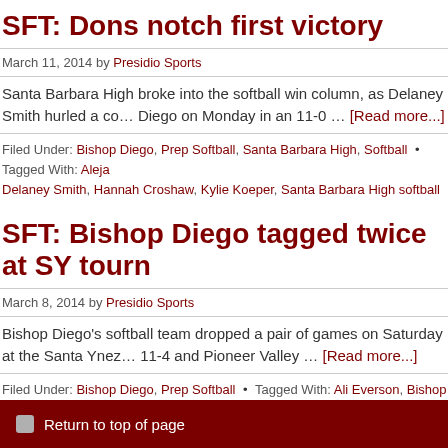SFT: Dons notch first victory
March 11, 2014 by Presidio Sports
Santa Barbara High broke into the softball win column, as Delaney Smith hurled a co… Diego on Monday in an 11-0 … [Read more...]
Filed Under: Bishop Diego, Prep Softball, Santa Barbara High, Softball • Tagged With: Aleja… Delaney Smith, Hannah Croshaw, Kylie Koeper, Santa Barbara High softball
SFT: Bishop Diego tagged twice at SY tourn
March 8, 2014 by Presidio Sports
Bishop Diego's softball team dropped a pair of games on Saturday at the Santa Ynez… 11-4 and Pioneer Valley … [Read more...]
Filed Under: Bishop Diego, Prep Softball • Tagged With: Ali Everson, Bishop Diego softball,
Return to top of page